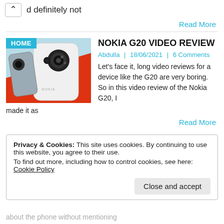d definitely not
Read More
[Figure (photo): Nokia G20 smartphone photo with HOME badge overlay, on red and blue background]
NOKIA G20 VIDEO REVIEW
Abdulla | 18/06/2021 | 6 Comments
Let's face it, long video reviews for a device like the G20 are very boring. So in this video review of the Nokia G20, I made it as
Read More
Privacy & Cookies: This site uses cookies. By continuing to use this website, you agree to their use.
To find out more, including how to control cookies, see here: Cookie Policy
Close and accept
about the phone without mentioning